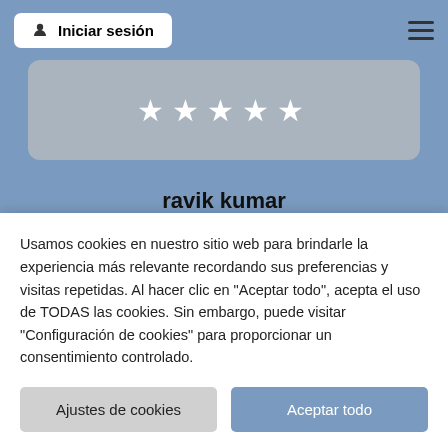Iniciar sesión
[Figure (other): Five white star rating icons displayed on a gray rounded card background]
ravik kumar
Escribe un comentario
Usamos cookies en nuestro sitio web para brindarle la experiencia más relevante recordando sus preferencias y visitas repetidas. Al hacer clic en "Aceptar todo", acepta el uso de TODAS las cookies. Sin embargo, puede visitar "Configuración de cookies" para proporcionar un consentimiento controlado.
Ajustes de cookies
Aceptar todo